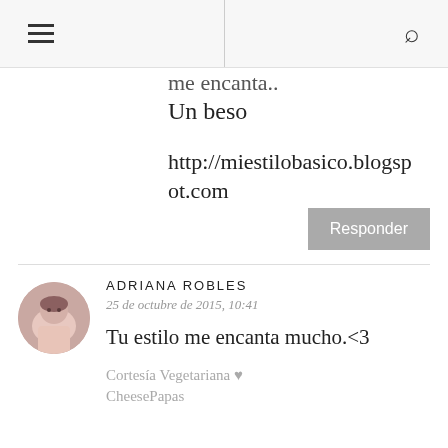☰ [menu icon] | [search icon]
me encanta..
Un beso
http://miestilobasico.blogspot.com
Responder
ADRIANA ROBLES
25 de octubre de 2015, 10:41
Tu estilo me encanta mucho.<3
Cortesía Vegetariana ♥
CheesePapas